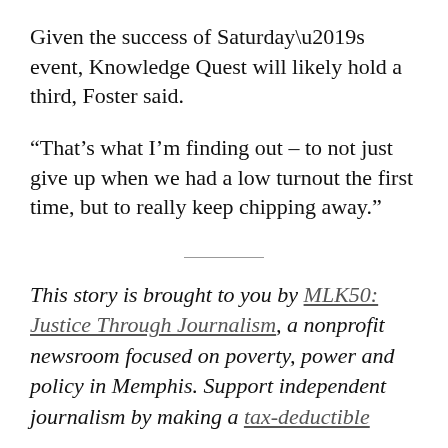Given the success of Saturday’s event, Knowledge Quest will likely hold a third, Foster said.
“That’s what I’m finding out – to not just give up when we had a low turnout the first time, but to really keep chipping away.”
This story is brought to you by MLK50: Justice Through Journalism, a nonprofit newsroom focused on poverty, power and policy in Memphis. Support independent journalism by making a tax-deductible donation to MLK50 in the amount to help...